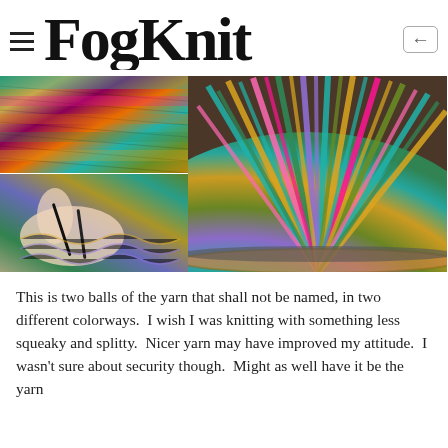FogKnit
[Figure (photo): Collage of three knitting photos: top-left shows colorful multicolored knitted fabric in ribbed pattern with teal, pink, orange, gold stripes; bottom-left shows hands holding knitting needles working on colorful yarn in teal, purple, gold; right large photo shows close-up of a colorful knitted hat brim with multicolored yarn strands (teal, magenta, olive, gold, pink) fanned out radially]
This is two balls of the yarn that shall not be named, in two different colorways.  I wish I was knitting with something less squeaky and splitty.  Nicer yarn may have improved my attitude.  I wasn't sure about security though.  Might as well have it be the yarn